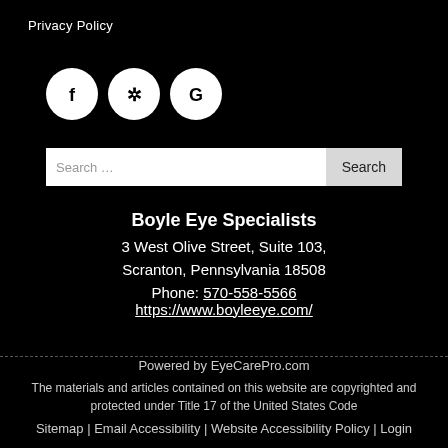Privacy Policy
[Figure (other): Three social media icon circles: Facebook (f), Yelp (asterisk/star), Google (G)]
Search ...  [Search button]
Boyle Eye Specialists
3 West Olive Street, Suite 103,
Scranton, Pennsylvania 18508
Phone: 570-558-5566
https://www.boyleeye.com/
Powered by EyeCarePro.com
The materials and articles contained on this website are copyrighted and protected under Title 17 of the United States Code
Sitemap | Email Accessibility | Website Accessibility Policy | Login